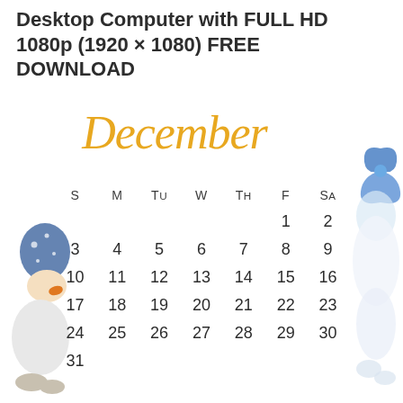Desktop Computer with FULL HD 1080p (1920 × 1080) FREE DOWNLOAD
[Figure (illustration): Watercolor illustration of a gnome or snowman figure on the left side, wearing a blue hat with white dots]
[Figure (illustration): Watercolor illustration of a figure on the right side with blue ribbon/banner above]
December
| S | M | Tu | W | Th | F | Sa |
| --- | --- | --- | --- | --- | --- | --- |
|  |  |  |  |  | 1 | 2 |
| 3 | 4 | 5 | 6 | 7 | 8 | 9 |
| 10 | 11 | 12 | 13 | 14 | 15 | 16 |
| 17 | 18 | 19 | 20 | 21 | 22 | 23 |
| 24 | 25 | 26 | 27 | 28 | 29 | 30 |
| 31 |  |  |  |  |  |  |